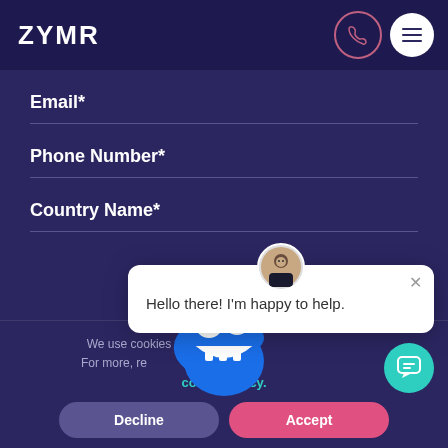[Figure (logo): ZYMR logo in white text on dark navy header with phone icon button and hamburger menu button]
Email*
Phone Number*
Country Name*
We use cookies to
For more, read our
cookie policy.
[Figure (illustration): Chat support popup with avatar, close button and message: Hello there! I'm happy to help.]
[Figure (illustration): Blue Cookie Monster cartoon character overlapping cookie consent bar]
[Figure (illustration): Teal circular chat FAB button with chat icon]